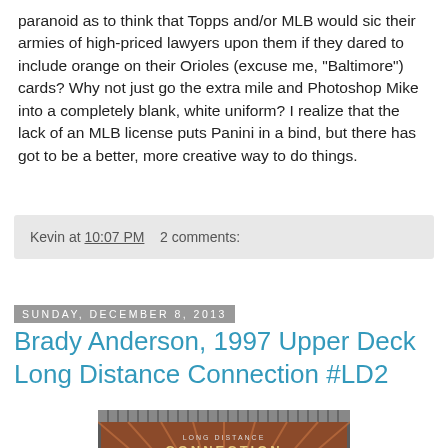paranoid as to think that Topps and/or MLB would sic their armies of high-priced lawyers upon them if they dared to include orange on their Orioles (excuse me, "Baltimore") cards? Why not just go the extra mile and Photoshop Mike into a completely blank, white uniform? I realize that the lack of an MLB license puts Panini in a bind, but there has got to be a better, more creative way to do things.
Kevin at 10:07 PM   2 comments:
Sunday, December 8, 2013
Brady Anderson, 1997 Upper Deck Long Distance Connection #LD2
[Figure (photo): 1997 Upper Deck Long Distance Connection baseball card #LD2 featuring Brady Anderson, showing a player swinging a bat with a striped geometric background. The card has a metallic/foil border with 'LONG DISTANCE CONNECTION' text at top and the Upper Deck logo.]